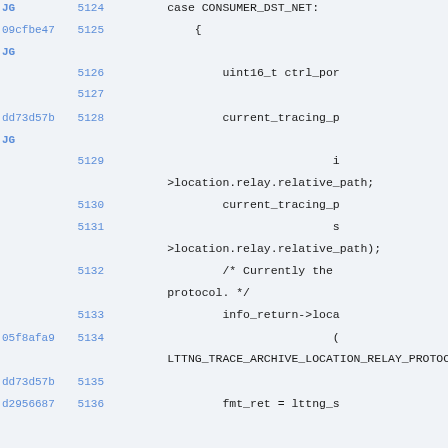JG  5124  case CONSUMER_DST_NET:
09cfbe47  5125  {
JG  5126  uint16_t ctrl_por
5127
dd73d57b  5128  current_tracing_p
JG  5129  i
>location.relay.relative_path;
5130  current_tracing_p
5131  s
>location.relay.relative_path);
5132  /* Currently the
protocol. */
5133  info_return->loca
05f8afa9  5134  (
LTTNG_TRACE_ARCHIVE_LOCATION_RELAY_PROTOC
dd73d57b  5135
d2956687  5136  fmt_ret = lttng_s